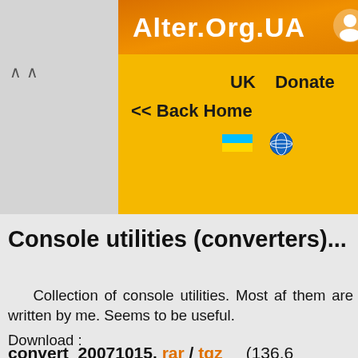Alter.Org.UA
UK  Donate
<< Back Home
Console utilities (converters)...
Collection of console utilities. Most af them are written by me. Seems to be useful.
Download :
convert_20071015. rar / tgz  (136.6